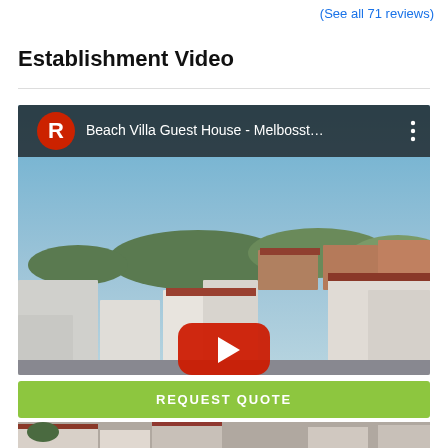(See all 71 reviews)
Establishment Video
[Figure (screenshot): Video thumbnail for Beach Villa Guest House - Melbosst... showing rooftop aerial view of white and terracotta buildings with blue sky, with a YouTube-style play button overlay and video header bar showing a red R logo and title.]
REQUEST QUOTE
[Figure (photo): Bottom partial photo strip of buildings with verandas and red roofs.]